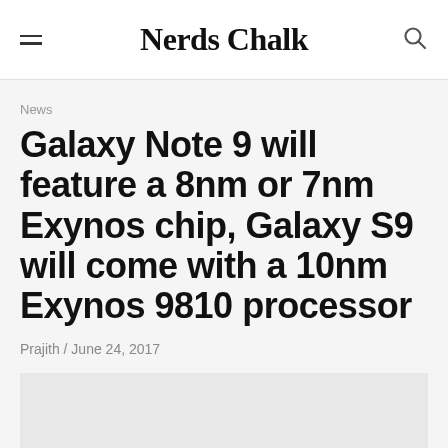Nerds Chalk
News
Galaxy Note 9 will feature a 8nm or 7nm Exynos chip, Galaxy S9 will come with a 10nm Exynos 9810 processor
Prajith / June 24, 2017
[Figure (photo): Gray placeholder image area at the bottom of the article header]